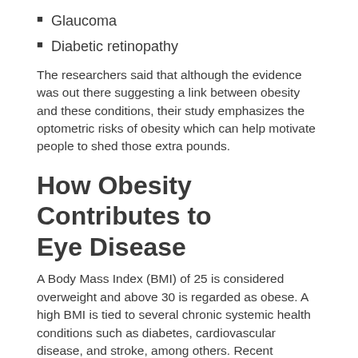Glaucoma
Diabetic retinopathy
The researchers said that although the evidence was out there suggesting a link between obesity and these conditions, their study emphasizes the optometric risks of obesity which can help motivate people to shed those extra pounds.
How Obesity Contributes to Eye Disease
A Body Mass Index (BMI) of 25 is considered overweight and above 30 is regarded as obese. A high BMI is tied to several chronic systemic health conditions such as diabetes, cardiovascular disease, and stroke, among others. Recent research indicates that a handful of ocular diseases can now be added to that list.
Serious eye conditions such as diabetic retinopathy,